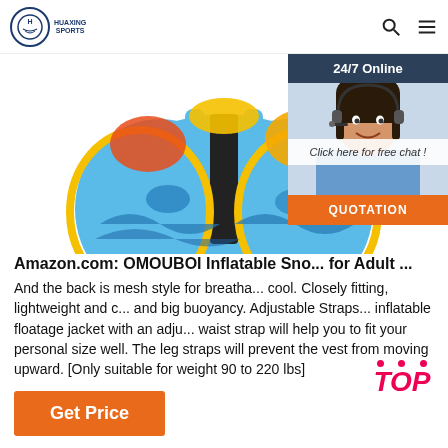HUAXING SPORTS
[Figure (photo): Product photo of a colorful inflatable snorkel/swim vest for kids, shown from the back, blue with cartoon fish design and yellow trim, zipper visible in center.]
[Figure (photo): 24/7 Online customer service widget showing a woman with a headset smiling, with a 'Click here for free chat!' overlay and an orange QUOTATION button.]
Amazon.com: OMOUBOI Inflatable Sno... for Adult ...
And the back is mesh style for breatha... cool. Closely fitting, lightweight and c... and big buoyancy. ⓢAdjustable Straps... inflatable floatage jacket with an adju... waist strap will help you to fit your personal size well. The leg straps will prevent the vest from moving upward. [Only suitable for weight 90 to 220 lbs]
Get Price